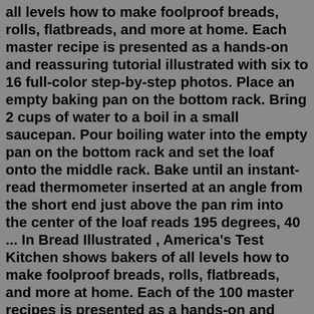all levels how to make foolproof breads, rolls, flatbreads, and more at home. Each master recipe is presented as a hands-on and reassuring tutorial illustrated with six to 16 full-color step-by-step photos. Place an empty baking pan on the bottom rack. Bring 2 cups of water to a boil in a small saucepan. Pour boiling water into the empty pan on the bottom rack and set the loaf onto the middle rack. Bake until an instant-read thermometer inserted at an angle from the short end just above the pan rim into the center of the loaf reads 195 degrees, 40 ... In Bread Illustrated , America's Test Kitchen shows bakers of all levels how to make foolproof breads, rolls, flatbreads, and more at home. Each of the 100 master recipes is presented as a hands-on and reassuring tutorial illustrated with six to 24 full-color step-by-step photos. Organized by level of difficulty to make bread baking less ... Bread Illustrated. In Bread Illustrated, America's Test Kitchen shows bakers of all levels how to make foolproof breads, rolls, flatbreads, and more at home.Sep 05, 2016 · Many